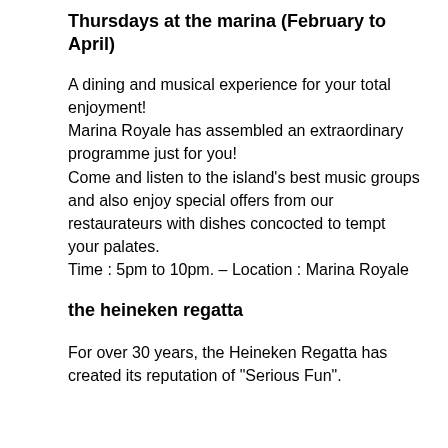Thursdays at the marina (February to April)
A dining and musical experience for your total enjoyment!
Marina Royale has assembled an extraordinary programme just for you!
Come and listen to the island’s best music groups and also enjoy special offers from our restaurateurs with dishes concocted to tempt your palates.
Time : 5pm to 10pm. – Location : Marina Royale
the heineken regatta
For over 30 years, the Heineken Regatta has created its reputation of “Serious Fun”.